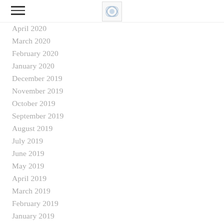≡ [logo]
April 2020
March 2020
February 2020
January 2020
December 2019
November 2019
October 2019
September 2019
August 2019
July 2019
June 2019
May 2019
April 2019
March 2019
February 2019
January 2019
December 2018
November 2018